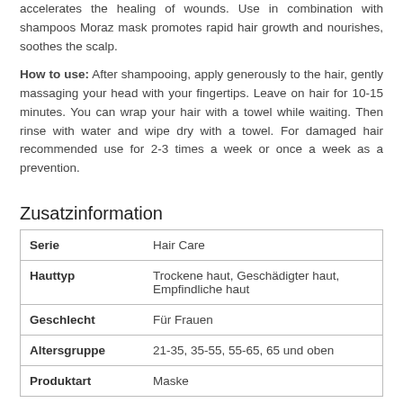accelerates the healing of wounds. Use in combination with shampoos Moraz mask promotes rapid hair growth and nourishes, soothes the scalp.
How to use: After shampooing, apply generously to the hair, gently massaging your head with your fingertips. Leave on hair for 10-15 minutes. You can wrap your hair with a towel while waiting. Then rinse with water and wipe dry with a towel. For damaged hair recommended use for 2-3 times a week or once a week as a prevention.
Zusatzinformation
|  |  |
| --- | --- |
| Serie | Hair Care |
| Hauttyp | Trockene haut, Geschädigter haut, Empfindliche haut |
| Geschlecht | Für Frauen |
| Altersgruppe | 21-35, 35-55, 55-65, 65 und oben |
| Produktart | Maske |